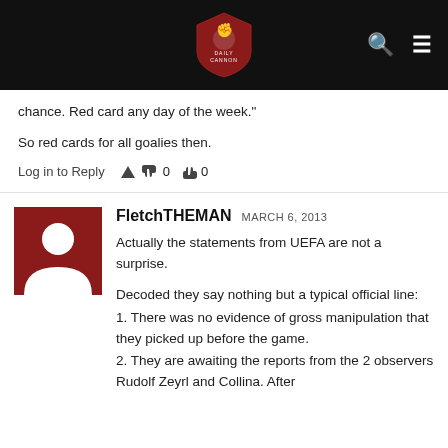Daily Cannon (logo)
chance. Red card any day of the week."
So red cards for all goalies then.
Log in to Reply   0   0
[Figure (photo): Dark red square avatar with white silhouette of a person]
FletchTHEMAN  MARCH 6, 2013
Actually the statements from UEFA are not a surprise.
Decoded they say nothing but a typical official line:
1. There was no evidence of gross manipulation that they picked up before the game.
2. They are awaiting the reports from the 2 observers Rudolf Zeyrl and Collina. After